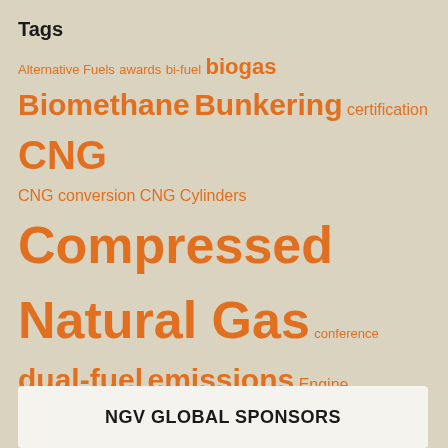Tags
Alternative Fuels awards bi-fuel biogas Biomethane Bunkering certification CNG CNG conversion CNG Cylinders Compressed Natural Gas conference dual-fuel emissions Engine Fleets Ford fueling stations funding GHG HD Vehicles hybrid Hydrogen Incentive Iveco LCNG Liquefied natural gas LNG lobbying Locomotive Marine Mining motor racing NGVA Europe NGVAmerica OEM refuse vehicles Reports RNG Scania Standards and Regulations Taxis transit bus urban bus Volvo
NGV GLOBAL SPONSORS